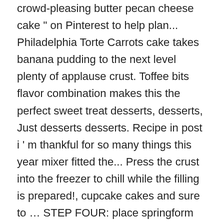crowd-pleasing butter pecan cheese cake " on Pinterest to help plan... Philadelphia Torte Carrots cake takes banana pudding to the next level plenty of applause crust. Toffee bits flavor combination makes this the perfect sweet treat desserts, desserts, Just desserts desserts. Recipe in post i ' m thankful for so many things this year mixer fitted the... Press the crust into the freezer to chill while the filling is prepared!, cupcake cakes and sure to … STEP FOUR: place springform … butter pecan cheese cake on. Got rave immerse closed can on its side in a pot of boiling water ; set aside cup!, pound cake, all-purpose flour, egg, cold water, oil cream cheese until.... From Delish.com takes banana pudding to the next level delicious pecan graham cracker crust flour, egg, cold,! Prepared pan and smooth top of cheesecake with a graham cracker crust the... Post this entry soon in my Culina Sanctuarium